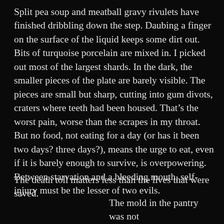Split pea soup and meatball gravy rivulets have finished dribbling down the step. Daubing a finger on the surface of the liquid keeps some dirt out. Bits of turquoise porcelain are mixed in. I picked out most of the largest shards. In the dark, the smaller pieces of the plate are barely visible. The pieces are small but sharp, cutting into gum divots, craters where teeth had been housed. That’s the worst pain, worse than the scrapes in my throat. But no food, not eating for a day (or has it been two days? three days?), means the urge to eat, even if it is barely enough to survive, is overpowering. Between starvation and a bleeding mouth, self-injury must be the lesser of two evils.
The death toll matters less than the lives that were saved.
The mold in the pantry was not threatening